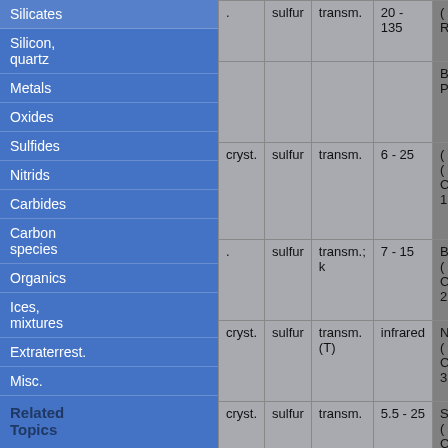Silicates
Silicon, quartz
Metals
Oxides
Sulfides
Nitrids
Carbides
Carbon species
Organics
Ices, mixtures
Extraterrest.
Misc.
Related Topics
Other databases
Bibliography
Tools and
|  | sulfur | transm. | 20 - 135 |  |
| --- | --- | --- | --- | --- |
| cryst. | sulfur | transm. | 6 - 25 |  |
| . | sulfur | transm.; k | 7 - 15 |  |
| cryst. | sulfur | transm. (T) | infrared |  |
| cryst. | sulfur | transm. | 5.5 - 25 |  |
| cryst. | sulfur | transm. | infrared |  |